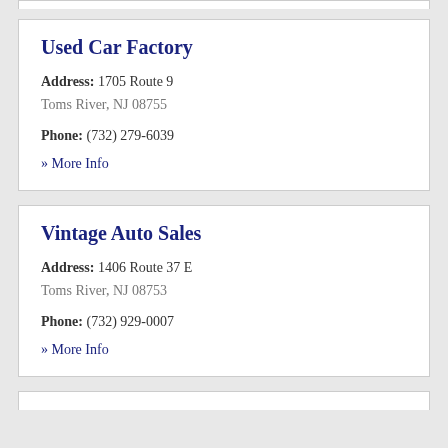Used Car Factory
Address: 1705 Route 9
Toms River, NJ 08755
Phone: (732) 279-6039
» More Info
Vintage Auto Sales
Address: 1406 Route 37 E
Toms River, NJ 08753
Phone: (732) 929-0007
» More Info